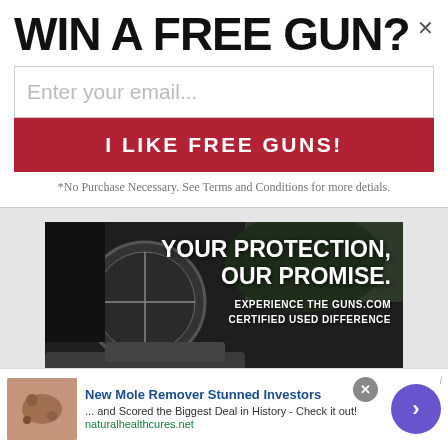WIN A FREE GUN?
Enter your email...
I LIKE FREE GUNS!
*No Purchase Necessary. See Terms and Conditions for more detials.
[Figure (photo): Advertisement banner for guns.com showing a rifle with scope, text: YOUR PROTECTION, OUR PROMISE. EXPERIENCE THE GUNS.COM CERTIFIED USED DIFFERENCE]
New Mole Remover Stunned Investors
... and Scored the Biggest Deal in History - Check it out!
naturalhealthcures.net